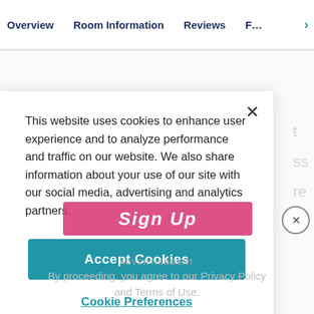Overview   Room Information   Reviews   F…
This website uses cookies to enhance user experience and to analyze performance and traffic on our website. We also share information about your use of our site with our social media, advertising and analytics partners.
Accept Cookies
Cookie Preferences
ADVERTISEMENT
By proceeding, you agree to our Privacy Policy and Terms of Use.